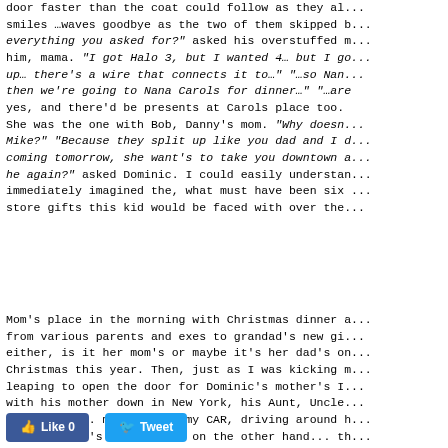door faster than the coat could follow as they al... smiles …waves goodbye as the two of them skipped b... "everything you asked for?" asked his overstuffed ... him, mama. "I got Halo 3, but I wanted 4… but I g... up… there's a wire that connects it to…" "…so Nan... then we're going to Nana Carols for dinner…" "…ar... yes, and there'd be presents at Carols place too. ... She was the one with Bob, Danny's mom. "Why doesn... Mike?" "Because they split up like you dad and I d... coming tomorrow, she want's to take you downtown ... he again?" asked Dominic. I could easily understa... immediately imagined the, what must have been six ... store gifts this kid would be faced with over the...
Mom's place in the morning with Christmas dinner a... from various parents and exes to grandad's new gi... either, is it her mom's or maybe it's her dad's o... Christmas this year. Then, just as I was kicking m... leaping to open the door for Dominic's mother's I... with his mother down in New York, his Aunt, Uncle... with Nonna... me alone in my CAR, driving around h... my half that's half bad... on the other hand... th... stories describing which family member's been left... pretty darned good... this year.